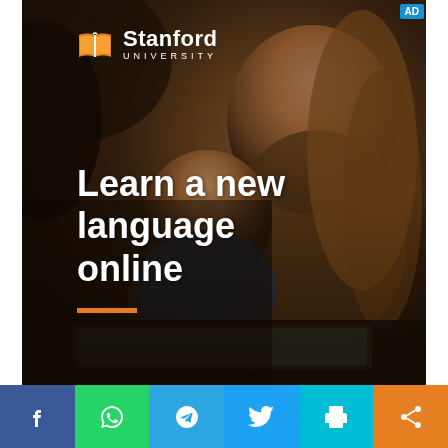[Figure (photo): Stanford University advertisement showing a woman and child looking at a laptop together, with warm dark tones. Stanford University logo with open book icon in orange/white is shown at top. Text overlay reads 'Learn a new language online' with an orange underline bar. AD badge in top right corner.]
Learn a new language online
[Figure (infographic): Social media sharing bar at bottom with six colored buttons: Facebook (blue), WhatsApp (green), Telegram (blue), Twitter (light blue), Print (teal), Share (orange)]